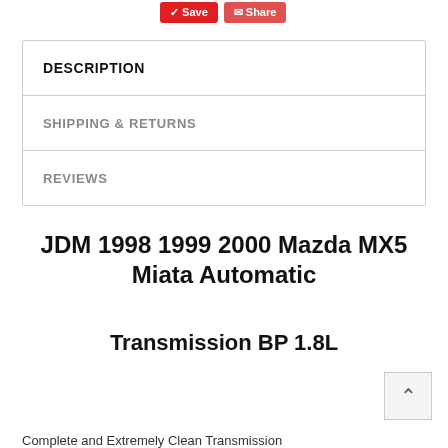[Figure (other): Save and Share buttons at the top of the page]
DESCRIPTION
SHIPPING & RETURNS
REVIEWS
JDM 1998 1999 2000 Mazda MX5 Miata Automatic
Transmission BP 1.8L
Complete and Extremely Clean Transmission